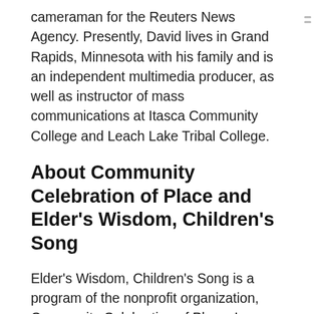cameraman for the Reuters News Agency. Presently, David lives in Grand Rapids, Minnesota with his family and is an independent multimedia producer, as well as instructor of mass communications at Itasca Community College and Leach Lake Tribal College.
About Community Celebration of Place and Elder's Wisdom, Children's Song
Elder's Wisdom, Children's Song is a program of the nonprofit organization, Community Celebration of Place. Larry Long serves as the Executive Director. For more information about their work in schools and communities across the U.S., visit their website at www.communitycelebration.org.